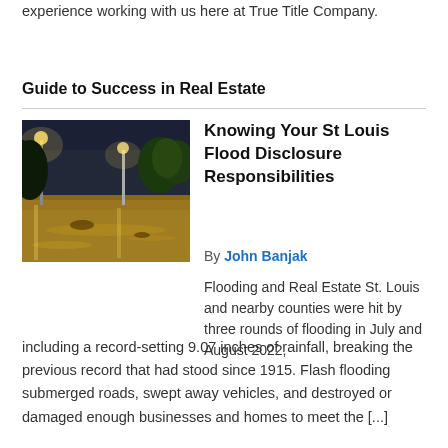experience working with us here at True Title Company.
Guide to Success in Real Estate
Knowing Your St Louis Flood Disclosure Responsibilities
By John Banjak
[Figure (photo): Night photo of a flooded area with street lights illuminating brown floodwater and trees]
Flooding and Real Estate St. Louis and nearby counties were hit by three rounds of flooding in July and August 2022, including a record-setting 9.07 inches of rainfall, breaking the previous record that had stood since 1915. Flash flooding submerged roads, swept away vehicles, and destroyed or damaged enough businesses and homes to meet the [...]